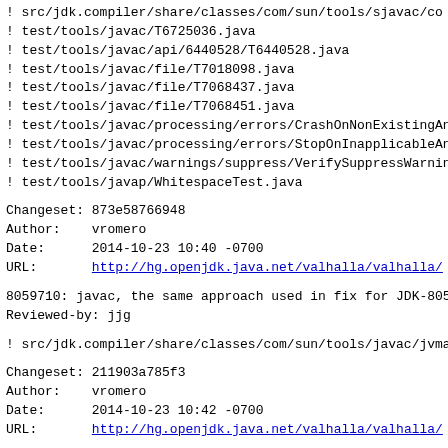! src/jdk.compiler/share/classes/com/sun/tools/sjavac/co
! test/tools/javac/T6725036.java
! test/tools/javac/api/6440528/T6440528.java
! test/tools/javac/file/T7018098.java
! test/tools/javac/file/T7068437.java
! test/tools/javac/file/T7068451.java
! test/tools/javac/processing/errors/CrashOnNonExistingAn
! test/tools/javac/processing/errors/StopOnInapplicableAn
! test/tools/javac/warnings/suppress/VerifySuppressWarnin
! test/tools/javap/WhitespaceTest.java
Changeset: 873e58766948
Author:    vromero
Date:      2014-10-23 10:40 -0700
URL:       http://hg.openjdk.java.net/valhalla/valhalla/
8059710: javac, the same approach used in fix for JDK-805
Reviewed-by: jjg
! src/jdk.compiler/share/classes/com/sun/tools/javac/jvma
Changeset: 211903a785f3
Author:    vromero
Date:      2014-10-23 10:42 -0700
URL:       http://hg.openjdk.java.net/valhalla/valhalla/
8057800: Method reference with generic type creates NPE w
Reviewed-by: mcimadamore, dlsmith
! src/jdk.compiler/share/classes/com/sun/tools/javac/code
! src/jdk.compiler/share/classes/com/sun/tools/javac/comp